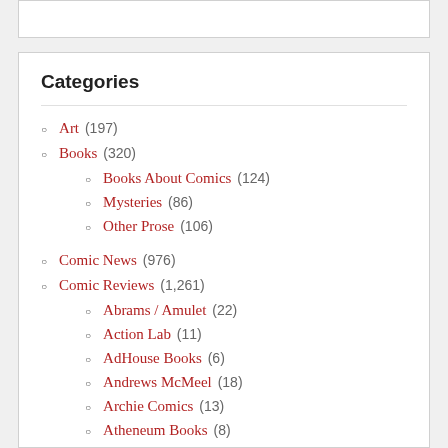Categories
Art (197)
Books (320)
Books About Comics (124)
Mysteries (86)
Other Prose (106)
Comic News (976)
Comic Reviews (1,261)
Abrams / Amulet (22)
Action Lab (11)
AdHouse Books (6)
Andrews McMeel (18)
Archie Comics (13)
Atheneum Books (8)